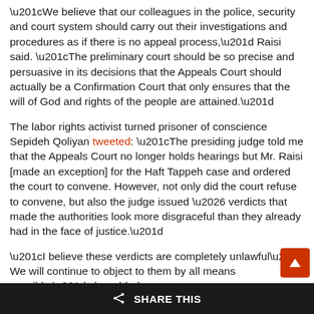“We believe that our colleagues in the police, security and court system should carry out their investigations and procedures as if there is no appeal process,” Raisi said. “The preliminary court should be so precise and persuasive in its decisions that the Appeals Court should actually be a Confirmation Court that only ensures that the will of God and rights of the people are attained.”
The labor rights activist turned prisoner of conscience Sepideh Qoliyan tweeted: “The presiding judge told me that the Appeals Court no longer holds hearings but Mr. Raisi [made an exception] for the Haft Tappeh case and ordered the court to convene. However, not only did the court refuse to convene, but also the judge issued … verdicts that made the authorities look more disgraceful than they already had in the face of justice.”
“I believe these verdicts are completely unlawful… We will continue to object to them by all means possible,” she added.
Qoliyan’s attorney, Jamal Heydarinia told the Iranian Labor News Agency (ILNA) that he would file a p
SHARE THIS